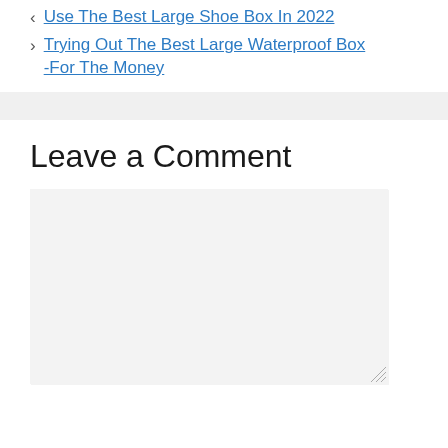< Use The Best Large Shoe Box In 2022
> Trying Out The Best Large Waterproof Box -For The Money
Leave a Comment
[Figure (other): Empty comment textarea input box with light gray background and resize handle in bottom-right corner]